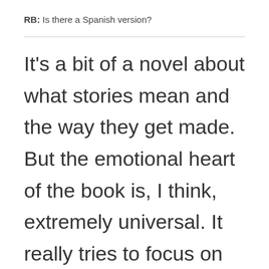RB: Is there a Spanish version?
It's a bit of a novel about what stories mean and the way they get made. But the emotional heart of the book is, I think, extremely universal. It really tries to focus on Martí's emotional life...
FG: We are going to have a really cool translation. the past they have been pitched towards Spain. This